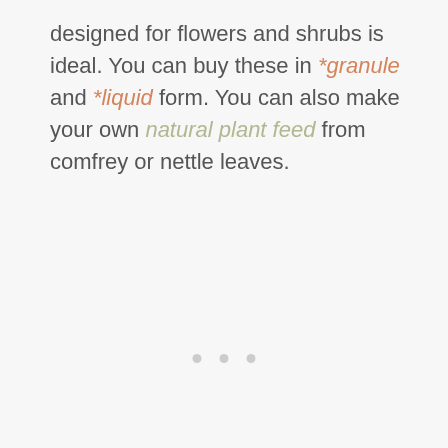designed for flowers and shrubs is ideal. You can buy these in *granule and *liquid form. You can also make your own natural plant feed from comfrey or nettle leaves.